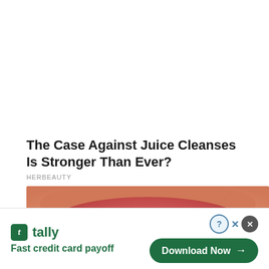The Case Against Juice Cleanses Is Stronger Than Ever?
HERBEAUTY
[Figure (photo): Close-up photo of lips]
[Figure (infographic): Tally app advertisement banner: 'Fast credit card payoff' with Download Now button]